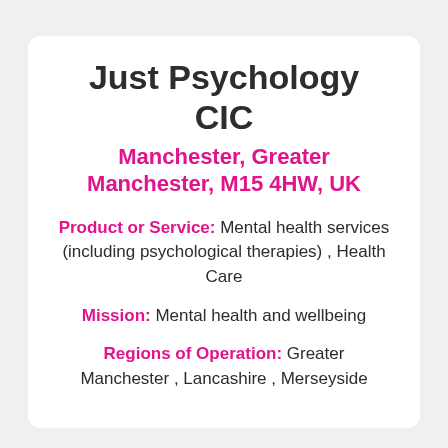Just Psychology CIC
Manchester, Greater Manchester, M15 4HW, UK
Product or Service: Mental health services (including psychological therapies) , Health Care
Mission: Mental health and wellbeing
Regions of Operation: Greater Manchester , Lancashire , Merseyside